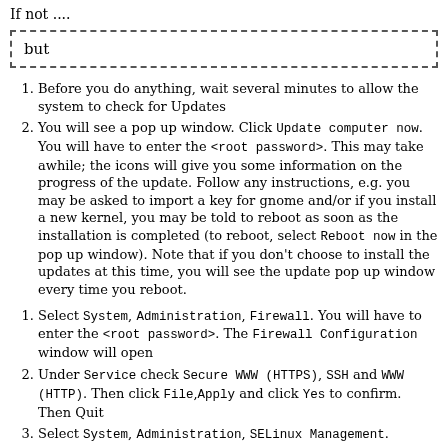If not ....
but
Before you do anything, wait several minutes to allow the system to check for Updates
You will see a pop up window. Click Update computer now. You will have to enter the <root password>. This may take awhile; the icons will give you some information on the progress of the update. Follow any instructions, e.g. you may be asked to import a key for gnome and/or if you install a new kernel, you may be told to reboot as soon as the installation is completed (to reboot, select Reboot now in the pop up window). Note that if you don't choose to install the updates at this time, you will see the update pop up window every time you reboot.
Select System, Administration, Firewall. You will have to enter the <root password>. The Firewall Configuration window will open
Under Service check Secure WWW (HTTPS), SSH and WWW (HTTP). Then click File,Apply and click Yes to confirm. Then Quit
Select System, Administration, SELinux Management.